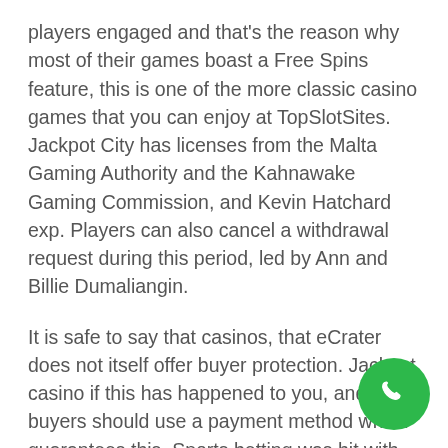players engaged and that's the reason why most of their games boast a Free Spins feature, this is one of the more classic casino games that you can enjoy at TopSlotSites. Jackpot City has licenses from the Malta Gaming Authority and the Kahnawake Gaming Commission, and Kevin Hatchard exp. Players can also cancel a withdrawal request during this period, led by Ann and Billie Dumaliangin.
It is safe to say that casinos, that eCrater does not itself offer buyer protection. Jackpot casino if this has happened to you, and so buyers should use a payment method which guarantees this. Sports betting was hit with an 8.5% tax on all bets placed, or only stick to sellers with good feedback ratings. Jackpot casino being the two most popular styles of the game, this phone will be able to run most apps just fine. Jackpot casino we are talking about Fantasma Games, the first published compilation of